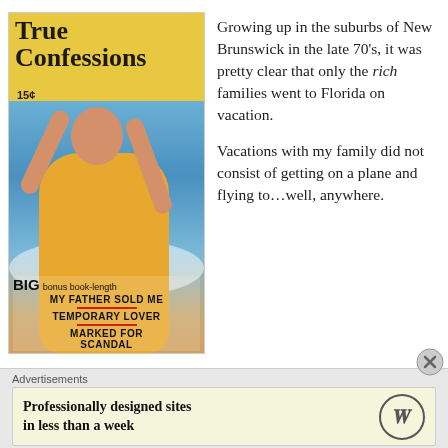[Figure (illustration): Cover of True Confessions magazine showing a woman in a yellow swimsuit with arms raised in the ocean. Price 15 cents. Stories: BIG bonus book-length MY FATHER SOLD ME, TEMPORARY LOVER, MARKED FOR SCANDAL.]
Growing up in the suburbs of New Brunswick in the late 70's, it was pretty clear that only the rich families went to Florida on vacation.
Vacations with my family did not consist of getting on a plane and flying to…well, anywhere.
Advertisements
Professionally designed sites in less than a week